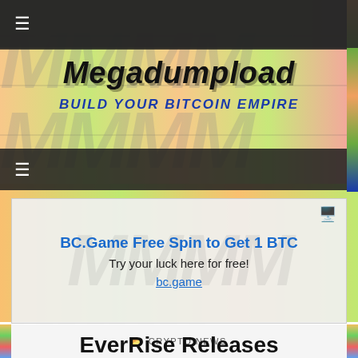☰
[Figure (logo): Megadumpload logo with tagline BUILD YOUR BITCOIN EMPIRE on a green and orange patterned background]
☰
[Figure (infographic): Advertisement box: BC.Game Free Spin to Get 1 BTC. Try your luck here for free! bc.game]
CRYPTO NEWS
EverRise Releases